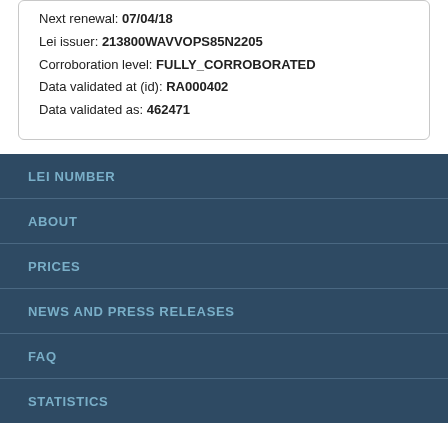Next renewal: 07/04/18
Lei issuer: 213800WAVVOPS85N2205
Corroboration level: FULLY_CORROBORATED
Data validated at (id): RA000402
Data validated as: 462471
LEI NUMBER
ABOUT
PRICES
NEWS AND PRESS RELEASES
FAQ
STATISTICS